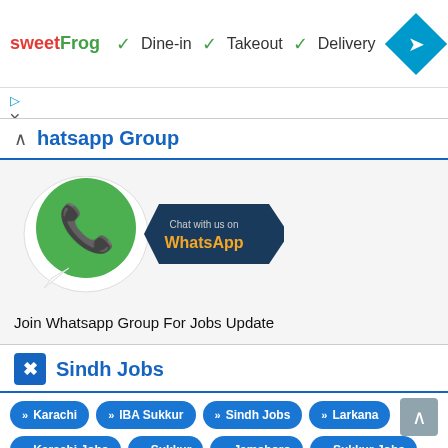[Figure (screenshot): Ad banner showing sweetFrog logo with Dine-in, Takeout, Delivery checkmarks and navigation arrow icon]
[Figure (logo): Ad controls: play and close button icons]
hatsapp Group
[Figure (illustration): WhatsApp logo with Chat with us on WhatsApp banner]
Join Whatsapp Group For Jobs Update
Sindh Jobs
Karachi
IBA Sukkur
Sindh Jobs
Larkana
Karachi Jobs
Sukkur
Jamshoro
Sukkur Jobs
Khairpur Mirs
Mirpur Khas
Dadu
Ghotki